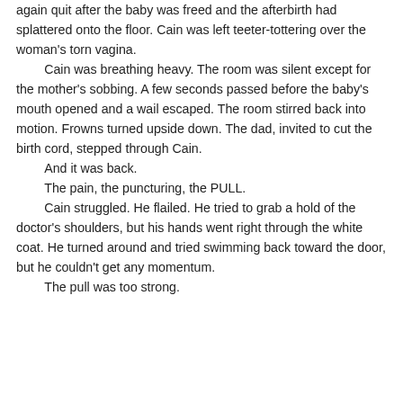again quit after the baby was freed and the afterbirth had splattered onto the floor. Cain was left teeter-tottering over the woman's torn vagina.
	Cain was breathing heavy. The room was silent except for the mother's sobbing. A few seconds passed before the baby's mouth opened and a wail escaped. The room stirred back into motion. Frowns turned upside down. The dad, invited to cut the birth cord, stepped through Cain.
	And it was back.
	The pain, the puncturing, the PULL.
	Cain struggled. He flailed. He tried to grab a hold of the doctor's shoulders, but his hands went right through the white coat. He turned around and tried swimming back toward the door, but he couldn't get any momentum.
	The pull was too strong.